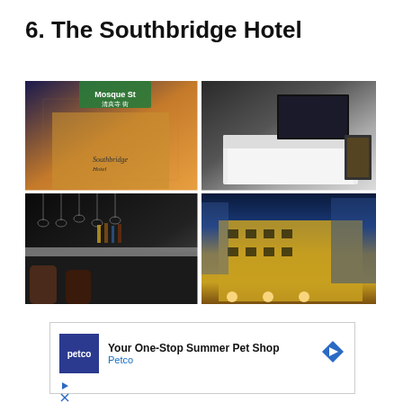6. The Southbridge Hotel
[Figure (photo): Four-photo grid of The Southbridge Hotel: top-left shows the hotel exterior sign with Mosque Street sign and ornate building facade at night; top-right shows a modern hotel bedroom with white bedding and dark decor; bottom-left shows a bar interior with hanging glasses and shelved bottles; bottom-right shows the hotel building exterior at night with warm golden lighting on a colonial-style building.]
[Figure (infographic): Advertisement banner: Petco logo (dark blue square with 'petco' text), headline 'Your One-Stop Summer Pet Shop', subtext 'Petco', blue navigation arrow icon on right. Below are two small ad control icons (play triangle and X/close).]